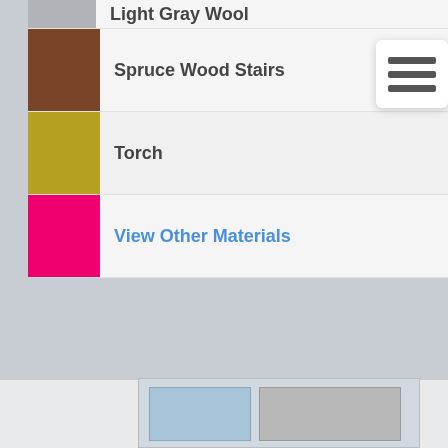| Color | Material | Count |
| --- | --- | --- |
| Light Gray Wool (partial) | Light Gray Wool | 9 |
| Spruce Wood Stairs | Spruce Wood Stairs | 9 |
| Torch | Torch | 2 |
| View Other Materials | View Other Materials | 2 |
[Figure (screenshot): Partial screenshot of another page visible at bottom]